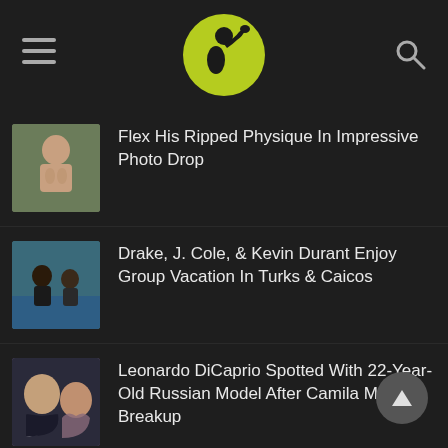Website header with logo, hamburger menu, and search icon
Flex His Ripped Physique In Impressive Photo Drop
Drake, J. Cole, & Kevin Durant Enjoy Group Vacation In Turks & Caicos
Leonardo DiCaprio Spotted With 22-Year-Old Russian Model After Camila Morrone Breakup